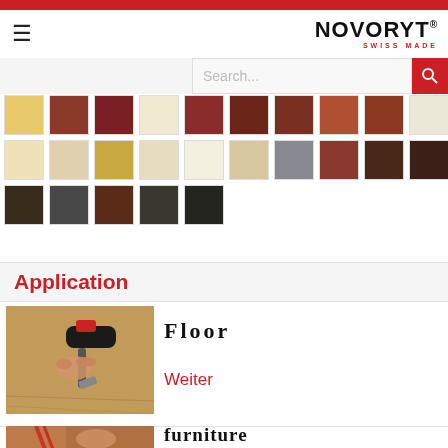[Figure (logo): NOVORYT SWISS MADE logo with red text]
[Figure (infographic): Color swatch grid showing approximately 25 color samples ranging from yellows, reds, creams, browns, grays to dark browns and blacks]
Application
[Figure (photo): Hand holding a tool applying product to a wooden floor surface]
Floor
Weiter
[Figure (photo): Hands working on wood furniture]
furniture